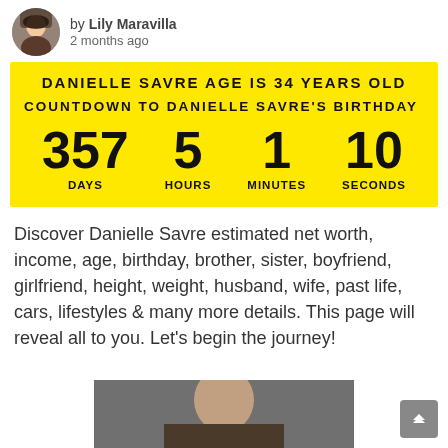by Lily Maravilla
2 months ago
DANIELLE SAVRE AGE IS 34 YEARS OLD
COUNTDOWN TO DANIELLE SAVRE'S BIRTHDAY
357 DAYS   5 HOURS   1 MINUTES   10 SECONDS
Discover Danielle Savre estimated net worth, income, age, birthday, brother, sister, boyfriend, girlfriend, height, weight, husband, wife, past life, cars, lifestyles & many more details. This page will reveal all to you. Let's begin the journey!
[Figure (photo): Partial photo of a person at the bottom of the page]